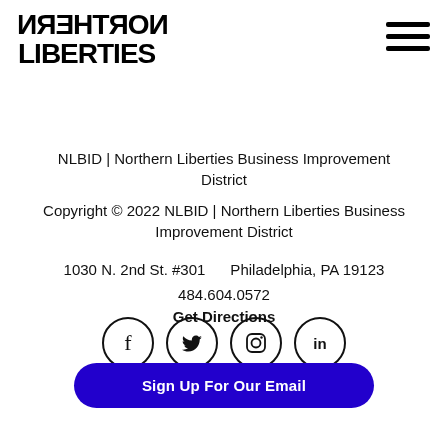[Figure (logo): Northern Liberties logo with mirrored NORTHERN text on top and LIBERTIES below]
[Figure (other): Hamburger menu icon with three horizontal lines]
NLBID | Northern Liberties Business Improvement District
Copyright © 2022 NLBID | Northern Liberties Business Improvement District
1030 N. 2nd St. #301     Philadelphia, PA 19123
484.604.0572
Get Directions
[Figure (other): Row of 4 social media icons in circles: Facebook, Twitter, Instagram, LinkedIn]
Sign Up For Our Email